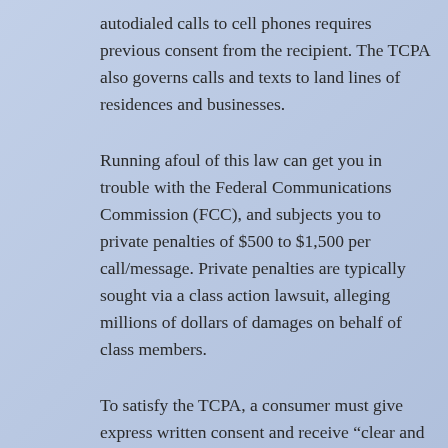autodialed calls to cell phones requires previous consent from the recipient. The TCPA also governs calls and texts to land lines of residences and businesses.
Running afoul of this law can get you in trouble with the Federal Communications Commission (FCC), and subjects you to private penalties of $500 to $1,500 per call/message. Private penalties are typically sought via a class action lawsuit, alleging millions of dollars of damages on behalf of class members.
To satisfy the TCPA, a consumer must give express written consent and receive “clear and conspicuous disclosure” that the consumer will receive future calls that deliver prerecorded or autodialed telemarketing messages by or on behalf of the business. Here is an example provision to include in your contract (including email consent):